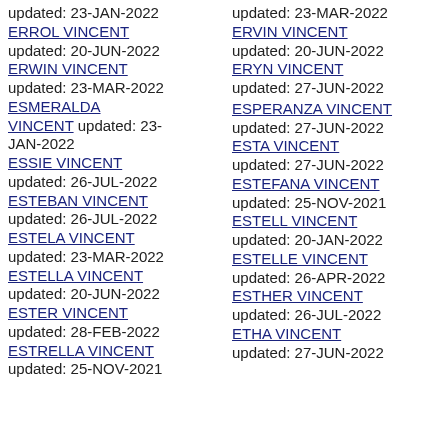updated: 23-JAN-2022
ERROL VINCENT
updated: 20-JUN-2022
ERWIN VINCENT
updated: 23-MAR-2022
ESMERALDA VINCENT updated: 23-JAN-2022
ESSIE VINCENT
updated: 26-JUL-2022
ESTEBAN VINCENT
updated: 26-JUL-2022
ESTELA VINCENT
updated: 23-MAR-2022
ESTELLA VINCENT
updated: 20-JUN-2022
ESTER VINCENT
updated: 28-FEB-2022
ESTRELLA VINCENT
updated: 25-NOV-2021
updated: 23-MAR-2022
ERVIN VINCENT
updated: 20-JUN-2022
ERYN VINCENT
updated: 27-JUN-2022
ESPERANZA VINCENT
updated: 27-JUN-2022
ESTA VINCENT
updated: 27-JUN-2022
ESTEFANA VINCENT
updated: 25-NOV-2021
ESTELL VINCENT
updated: 20-JAN-2022
ESTELLE VINCENT
updated: 26-APR-2022
ESTHER VINCENT
updated: 26-JUL-2022
ETHA VINCENT
updated: 27-JUN-2022